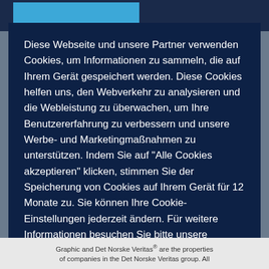Diese Webseite und unsere Partner verwenden Cookies, um Informationen zu sammeln, die auf Ihrem Gerät gespeichert werden. Diese Cookies helfen uns, den Webverkehr zu analysieren und die Webleistung zu überwachen, um Ihre Benutzererfahrung zu verbessern und unsere Werbe- und Marketingmaßnahmen zu unterstützen. Indem Sie auf "Alle Cookies akzeptieren" klicken, stimmen Sie der Speicherung von Cookies auf Ihrem Gerät für 12 Monate zu. Sie können Ihre Cookie-Einstellungen jederzeit ändern. Für weitere Informationen besuchen Sie bitte unsere Cookie-Informationsseite
Graphic and Det Norske Veritas® are the properties of companies in the Det Norske Veritas group. All